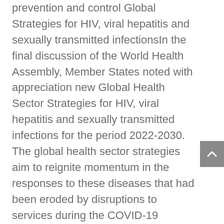prevention and control  Global Strategies for HIV, viral hepatitis and sexually transmitted infectionsIn the final discussion of the World Health Assembly, Member States noted with appreciation new Global Health Sector Strategies for HIV, viral hepatitis and sexually transmitted infections for the period 2022-2030. The global health sector strategies aim to reignite momentum in the responses to these diseases that had been eroded by disruptions to services during the COVID-19 pandemic. They set out to simultaneously strengthen responses to specific diseases while increasingly integrating them into broader health frameworks and taking opportunities, where feasible, to increase impact by addressing aspects of the diseases jointly. The strategies call for a more precise focus to reach the people who are most affected and most at risk for each disease, and to address inequities. They promote synergies under